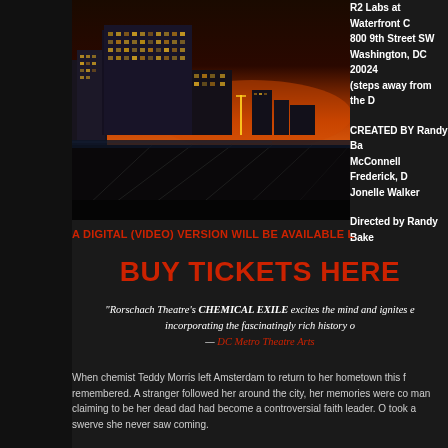[Figure (photo): Cityscape at dusk/sunset with modern buildings illuminated against an orange-red sky, dark foreground walkway]
R2 Labs at Waterfront C
800 9th Street SW
Washington, DC 20024
(steps away from the D

CREATED BY Randy Ba
McConnell Frederick, D
Jonelle Walker

Directed by Randy Bake
A DIGITAL (VIDEO) VERSION WILL BE AVAILABLE L
BUY TICKETS HERE
"Rorschach Theatre's CHEMICAL EXILE excites the mind and ignites e
incorporating the fascinatingly rich history o
— DC Metro Theatre Arts
When chemist Teddy Morris left Amsterdam to return to her hometown this f
remembered. A stranger followed her around the city, her memories were co
man claiming to be her dead dad had become a controversial faith leader. O
took a swerve she never saw coming.